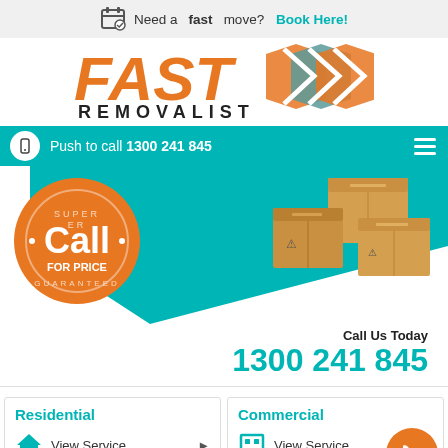Need a fast move? Book Here!
[Figure (logo): Fast Removalist logo with orange FAST text and teal/orange double chevron arrows]
Push to call 1300 241 845
[Figure (infographic): Call for price badge (orange stamp) and photo of cardboard boxes]
Call Us Today 1300 241 845
Residential - View Service
Commercial - View Service